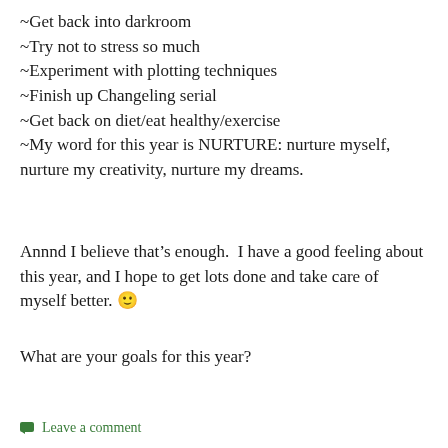~Get back into darkroom
~Try not to stress so much
~Experiment with plotting techniques
~Finish up Changeling serial
~Get back on diet/eat healthy/exercise
~My word for this year is NURTURE: nurture myself, nurture my creativity, nurture my dreams.
Annnd I believe that’s enough.  I have a good feeling about this year, and I hope to get lots done and take care of myself better. 🙂
What are your goals for this year?
Leave a comment